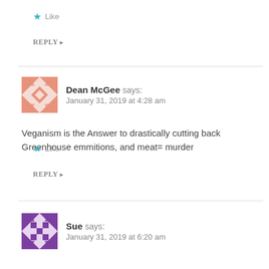★ Like
REPLY ▸
Dean McGee says:
January 31, 2019 at 4:28 am
Veganism is the Answer to drastically cutting back Greenhouse emmitions, and meat= murder
★ Like
REPLY ▸
Sue says:
January 31, 2019 at 6:20 am